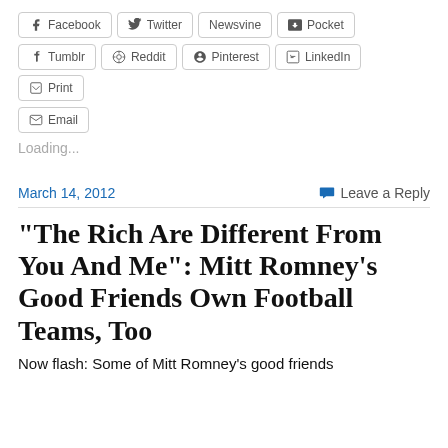[Figure (other): Row of social share buttons: Facebook, Twitter, Newsvine, Pocket, Tumblr, Reddit, Pinterest, LinkedIn, Print, Email]
Loading...
March 14, 2012
Leave a Reply
“The Rich Are Different From You And Me”: Mitt Romney’s Good Friends Own Football Teams, Too
Now flash: Some of Mitt Romney’s good friends...